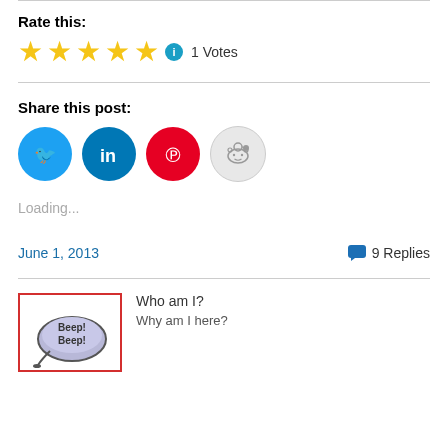Rate this:
[Figure (other): Five gold stars rating with info icon and '1 Votes' label]
Share this post:
[Figure (other): Social sharing buttons: Twitter, LinkedIn, Pinterest, Reddit]
Loading...
June 1, 2013
9 Replies
[Figure (illustration): Cartoon robot with speech bubble saying 'Beep! Beep!' inside a red-bordered thumbnail]
Who am I?
Why am I here?